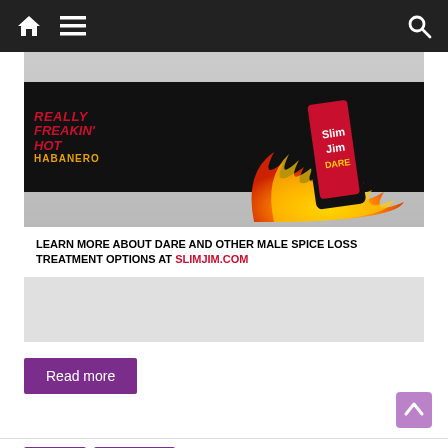Navigation bar with home, menu, and search icons
[Figure (photo): Slim Jim Really Freakin Hot Habanero product advertisement with flames graphic and text: LEARN MORE ABOUT DARE AND OTHER MALE SPICE LOSS TREATMENT OPTIONS AT SLIMJIM.COM]
Read more
Reviews
Solo Review
Buddah's Spicy Chip Review
June 11, 2011  Buddah  0 Comments  cheese, Herr's,